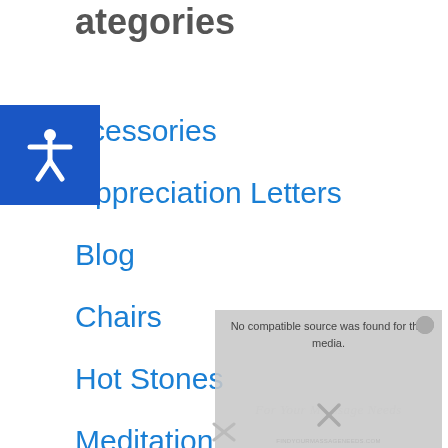Categories
Accessories
Appreciation Letters
Blog
Chairs
Hot Stones
Meditation
Oils
[Figure (screenshot): Media player overlay showing 'No compatible source was found for this media.' with a close button, watermark text 'For Your Massage Needs' and a URL below it]